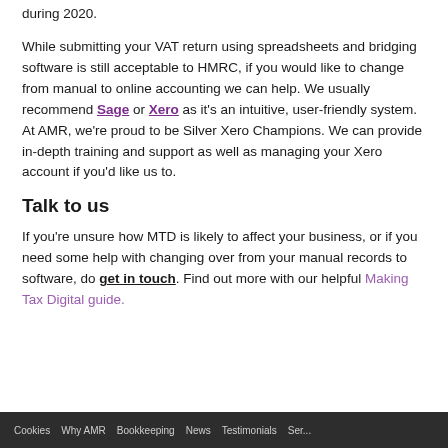during 2020.
While submitting your VAT return using spreadsheets and bridging software is still acceptable to HMRC, if you would like to change from manual to online accounting we can help. We usually recommend Sage or Xero as it's an intuitive, user-friendly system. At AMR, we're proud to be Silver Xero Champions. We can provide in-depth training and support as well as managing your Xero account if you'd like us to.
Talk to us
If you're unsure how MTD is likely to affect your business, or if you need some help with changing over from your manual records to software, do get in touch. Find out more with our helpful Making Tax Digital guide.
Cookies   Why AMR   Bookkeeping   News   Testimonials   Ser...